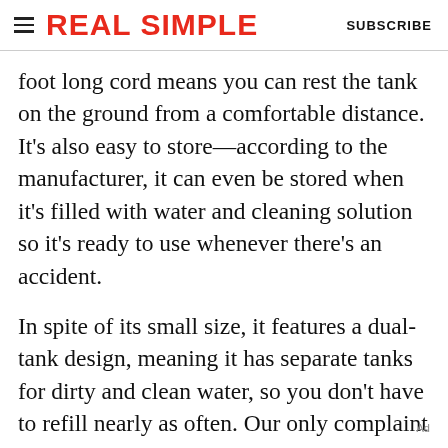REAL SIMPLE | SUBSCRIBE
foot long cord means you can rest the tank on the ground from a comfortable distance. It's also easy to store—according to the manufacturer, it can even be stored when it's filled with water and cleaning solution so it's ready to use whenever there's an accident.
In spite of its small size, it features a dual-tank design, meaning it has separate tanks for dirty and clean water, so you don't have to refill nearly as often. Our only complaint is that we wish this device came with more attachments, particularly a tool with a wider
Ad